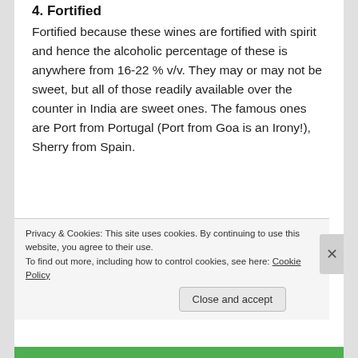Fortified
Fortified because these wines are fortified with spirit and hence the alcoholic percentage of these is anywhere from 16-22 % v/v. They may or may not be sweet, but all of those readily available over the counter in India are sweet ones. The famous ones are Port from Portugal (Port from Goa is an Irony!), Sherry from Spain.
Winemaking process:
[Figure (screenshot): Partial red banner with Pocket logo and white text visible at bottom of main content area]
Privacy & Cookies: This site uses cookies. By continuing to use this website, you agree to their use.
To find out more, including how to control cookies, see here: Cookie Policy
Close and accept